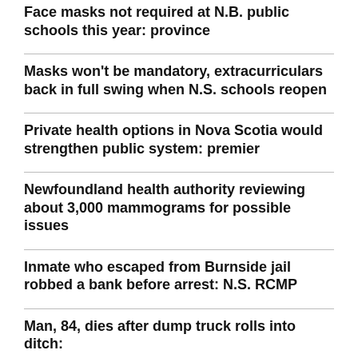Face masks not required at N.B. public schools this year: province
Masks won't be mandatory, extracurriculars back in full swing when N.S. schools reopen
Private health options in Nova Scotia would strengthen public system: premier
Newfoundland health authority reviewing about 3,000 mammograms for possible issues
Inmate who escaped from Burnside jail robbed a bank before arrest: N.S. RCMP
Man, 84, dies after dump truck rolls into ditch: